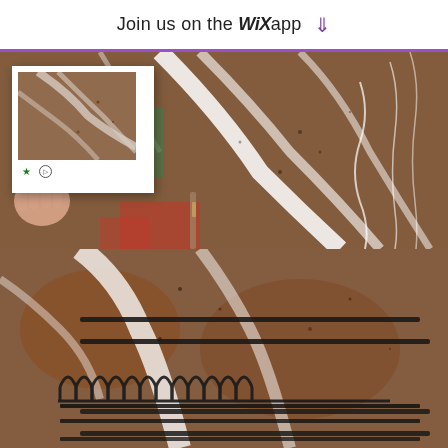Join us on the WiX app ⬇
[Figure (photo): Top photo showing a hand holding a white-framed Polaroid-style photo in front of a marble-textured surface with white paint streaks and drips. Paint brushes and red accents visible. Green star and circular icon visible on photo bottom.]
[Figure (photo): Bottom photo showing a close-up of a decorative metalwork or carved surface with ornate repeated arch/crown motifs, horizontal dark metal rods/bars, on a rust and brown marbled background with white paint streaks.]